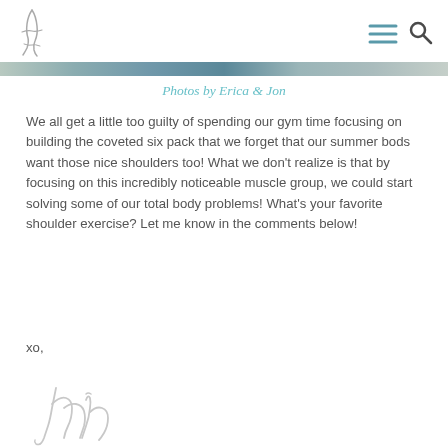Heidi (logo) — menu and search icons
[Figure (photo): Partial photo strip visible at top of content area]
Photos by Erica & Jon
We all get a little too guilty of spending our gym time focusing on building the coveted six pack that we forget that our summer bods want those nice shoulders too! What we don't realize is that by focusing on this incredibly noticeable muscle group, we could start solving some of our total body problems! What's your favorite shoulder exercise? Let me know in the comments below!
xo,
[Figure (illustration): Handwritten cursive signature reading 'heidi']